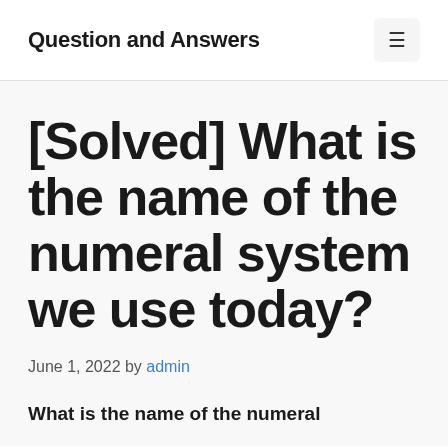Question and Answers
[Solved] What is the name of the numeral system we use today?
June 1, 2022 by admin
What is the name of the numeral